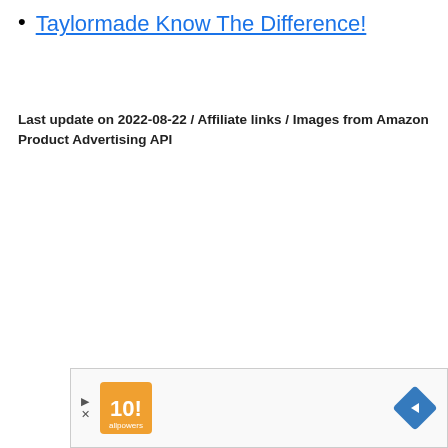Taylormade Know The Difference!
Last update on 2022-08-22 / Affiliate links / Images from Amazon Product Advertising API
[Figure (other): Advertisement banner with orange logo icon on left and blue navigation arrow icon on right, with expand/close controls]